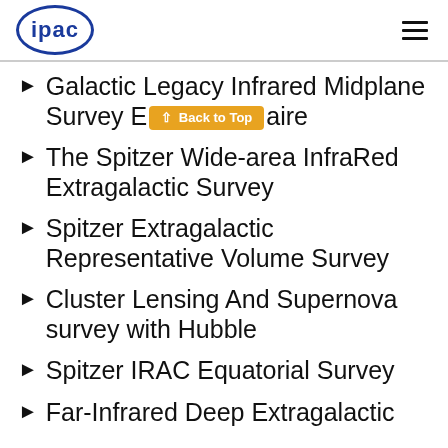ipac [logo] [hamburger menu]
Galactic Legacy Infrared Midplane Survey Extraordinaire
The Spitzer Wide-area InfraRed Extragalactic Survey
Spitzer Extragalactic Representative Volume Survey
Cluster Lensing And Supernova survey with Hubble
Spitzer IRAC Equatorial Survey
Far-Infrared Deep Extragalactic